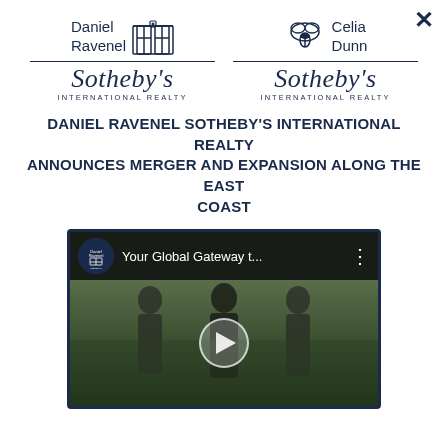[Figure (logo): Daniel Ravenel Sotheby's International Realty logo with gate icon]
[Figure (logo): Celia Dunn Sotheby's International Realty logo with acorn/leaf icon]
DANIEL RAVENEL SOTHEBY'S INTERNATIONAL REALTY ANNOUNCES MERGER AND EXPANSION ALONG THE EAST COAST
[Figure (screenshot): Video thumbnail showing 'Your Global Gateway t...' with play button and three people standing outdoors, Daniel Ravenel Sotheby's logo in top left corner]